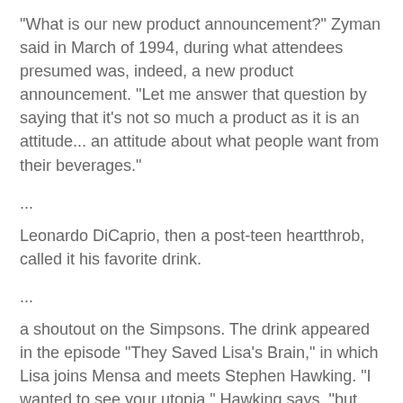"What is our new product announcement?" Zyman said in March of 1994, during what attendees presumed was, indeed, a new product announcement. "Let me answer that question by saying that it's not so much a product as it is an attitude... an attitude about what people want from their beverages."
...
Leonardo DiCaprio, then a post-teen heartthrob, called it his favorite drink.
...
a shoutout on the Simpsons. The drink appeared in the episode "They Saved Lisa's Brain," in which Lisa joins Mensa and meets Stephen Hawking. "I wanted to see your utopia," Hawking says, "but now I see it is more of a Fruitopia."
After going through the rest of the lines without a